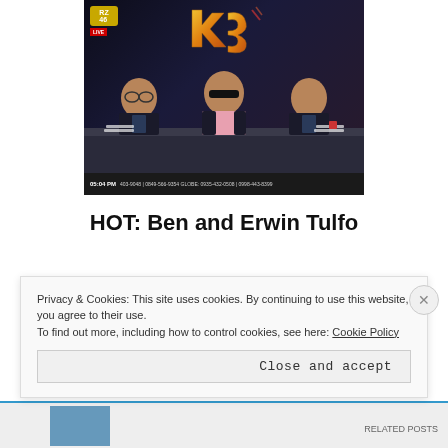[Figure (screenshot): TV screenshot showing three male hosts seated at a news desk. A stylized logo is displayed in the center background. A ticker bar at the bottom shows '05:04 PM' and phone numbers including 'GLOBE: 0935-432-0508 / 0998-443-8399'. A TV station logo appears top-left with a LIVE badge.]
HOT: Ben and Erwin Tulfo
The two Tulfo brothers began the
Privacy & Cookies: This site uses cookies. By continuing to use this website, you agree to their use.
To find out more, including how to control cookies, see here: Cookie Policy
Close and accept